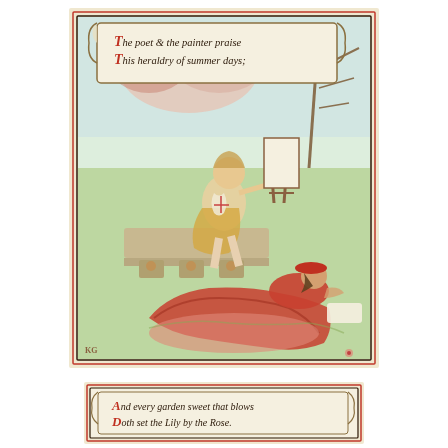[Figure (illustration): Victorian-era color illustration in a bordered frame. A young male painter/poet sits on a decorated bench painting at an easel, with roses blooming behind him. A woman in red robes reclines on the grass in the foreground. A scroll banner at the top reads: 'The poet & the painter praise This heraldry of summer days;']
[Figure (illustration): Partial view of a second bordered panel at the bottom of the page with decorative scroll text reading: 'And every garden sweet that blows Doth set the Lily by the Rose.']